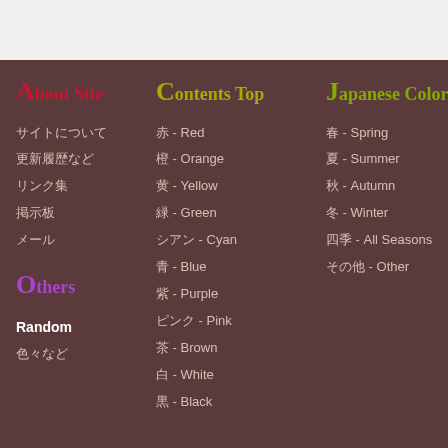About Site
サイトについて
更新履歴など
リンク集
掲示板
メール
Others
Random
色々など
Contents Top
赤 - Red
橙 - Orange
黄 - Yellow
緑 - Green
シアン - Cyan
青 - Blue
紫 - Purple
ピンク - Pink
茶 - Brown
白 - White
黒 - Black
Japanese Coloring
春 - Spring
夏 - Summer
秋 - Autumn
冬 - Winter
四季 - All Seasons
その他 - Other